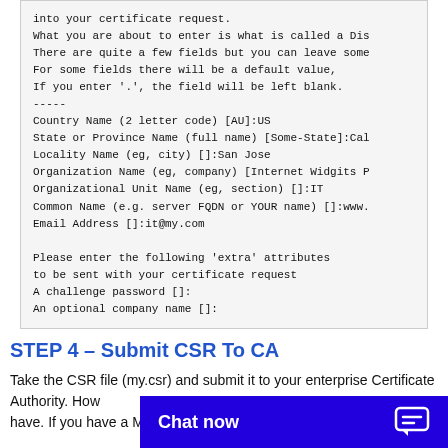[Figure (screenshot): Terminal/code block showing certificate request prompts including Country Name, State, Locality, Organization, Organizational Unit, Common Name, Email Address, and extra attributes fields with responses filled in.]
STEP 4 – Submit CSR To CA
Take the CSR file (my.csr) and submit it to your enterprise Certificate Authority. How have. If you have a Micros
[Figure (screenshot): Chat now button overlay at the bottom of the page with a speech bubble icon.]